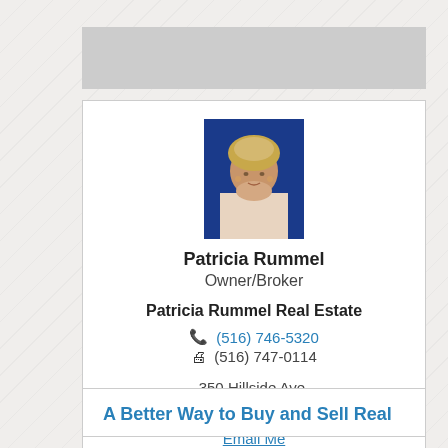[Figure (other): Gray banner/advertisement area at top of page]
[Figure (photo): Professional headshot of Patricia Rummel against blue background, blonde woman]
Patricia Rummel
Owner/Broker
Patricia Rummel Real Estate
(516) 746-5320
(516) 747-0114
350 Hillside Ave.
Williston Park, NY 11596
Email Me
DMCA Notice
A Better Way to Buy and Sell Real